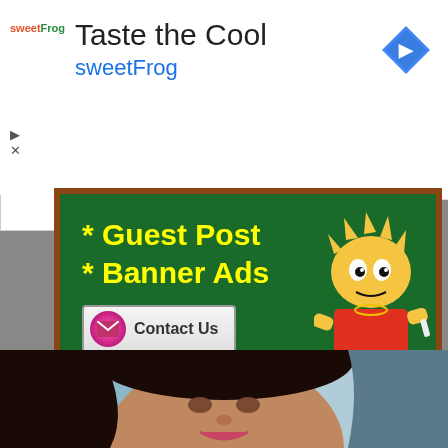[Figure (screenshot): Advertisement banner for sweetFrog frozen yogurt - 'Taste the Cool' with sweetFrog text in teal and a blue navigation diamond icon]
[Figure (infographic): Green chalkboard-style banner advertising Guest Post and Banner Ads with Contact Us button, email nitishdeb93@gmail.com, and Bart Simpson cartoon character on the right]
[Figure (photo): Portrait photo of a woman with dark curly hair, wearing makeup, smiling, with blue and warm background]